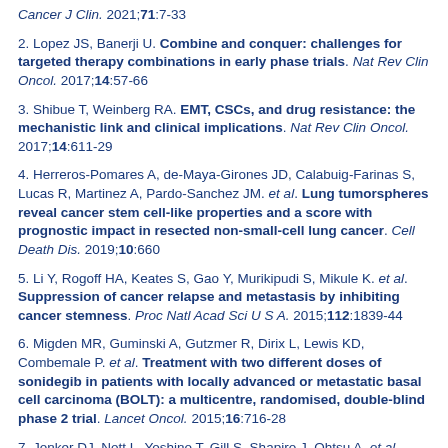Cancer J Clin. 2021;71:7-33
2. Lopez JS, Banerji U. Combine and conquer: challenges for targeted therapy combinations in early phase trials. Nat Rev Clin Oncol. 2017;14:57-66
3. Shibue T, Weinberg RA. EMT, CSCs, and drug resistance: the mechanistic link and clinical implications. Nat Rev Clin Oncol. 2017;14:611-29
4. Herreros-Pomares A, de-Maya-Girones JD, Calabuig-Farinas S, Lucas R, Martinez A, Pardo-Sanchez JM. et al. Lung tumorspheres reveal cancer stem cell-like properties and a score with prognostic impact in resected non-small-cell lung cancer. Cell Death Dis. 2019;10:660
5. Li Y, Rogoff HA, Keates S, Gao Y, Murikipudi S, Mikule K. et al. Suppression of cancer relapse and metastasis by inhibiting cancer stemness. Proc Natl Acad Sci U S A. 2015;112:1839-44
6. Migden MR, Guminski A, Gutzmer R, Dirix L, Lewis KD, Combemale P. et al. Treatment with two different doses of sonidegib in patients with locally advanced or metastatic basal cell carcinoma (BOLT): a multicentre, randomised, double-blind phase 2 trial. Lancet Oncol. 2015;16:716-28
7. Jonker DJ, Nott L, Yoshino T, Gill S, Shapiro J, Ohtsu A. et al. Napabucasin versus placebo in refractory advanced colorectal cancer: a randomised phase 3 trial. Lancet Gastroenterol Hepatol. 2018;3:263-70
8. Plaks V, Kong N, Werb Z. The cancer stem cell niche: how essential